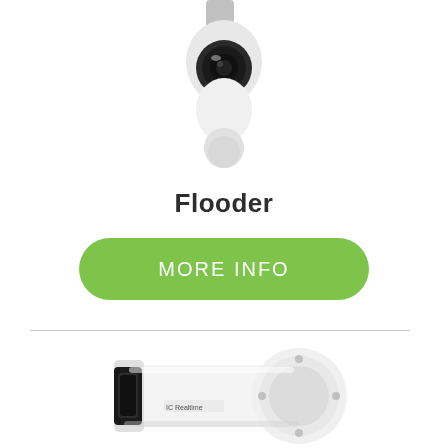[Figure (photo): White PTZ security camera mounted on bracket, viewed from below, partially cropped at top]
Flooder
MORE INFO
[Figure (photo): White bullet-style security camera (IC Realtime brand) with large lens mount, viewed from the side, partially visible at bottom of page]